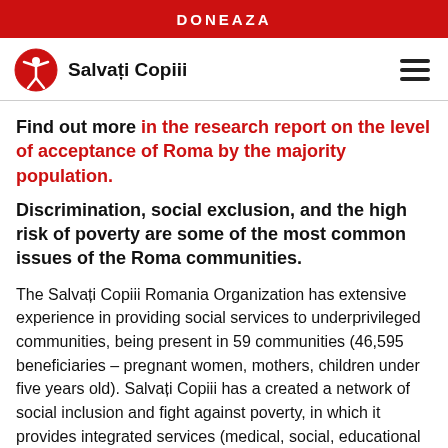DONEAZA
[Figure (logo): Salvati Copiii logo with red circle icon and text]
Find out more in the research report on the level of acceptance of Roma by the majority population.
Discrimination, social exclusion, and the high risk of poverty are some of the most common issues of the Roma communities.
The Salvati Copiii Romania Organization has extensive experience in providing social services to underprivileged communities, being present in 59 communities (46,595 beneficiaries – pregnant women, mothers, children under five years old). Salvati Copiii has a created a network of social inclusion and fight against poverty, in which it provides integrated services (medical, social, educational services) locally, thus supporting the increased access to sustainable and quality services for mothers, pregnant women, pregnant underage girls,